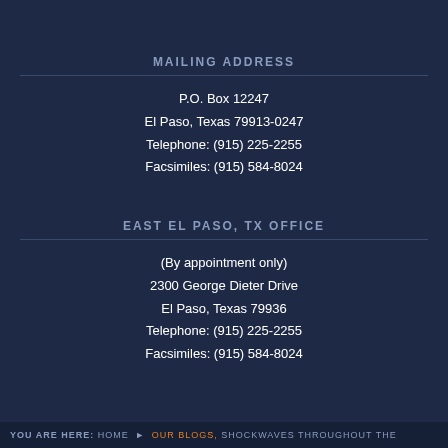MAILING ADDRESS
P.O. Box 12247
El Paso, Texas 79913-0247
Telephone: (915) 225-2255
Facsimiles: (915) 584-8024
EAST EL PASO, TX OFFICE
(By appointment only)
2300 George Dieter Drive
El Paso, Texas 79936
Telephone: (915) 225-2255
Facsimiles: (915) 584-8024
YOU ARE HERE: HOME ▶ OUR BLOGS, SHOCKWAVES THROUGHOUT THE